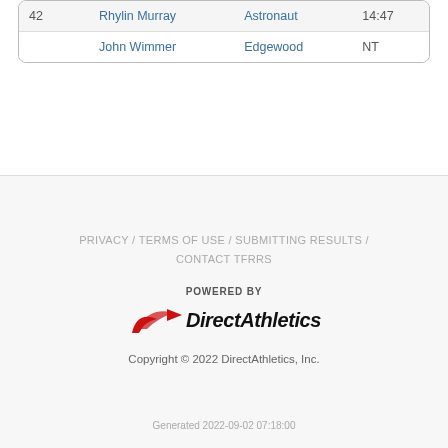|  | Name | School | Time |
| --- | --- | --- | --- |
| 42 | Rhylin Murray | Astronaut | 14:47 |
|  | John Wimmer | Edgewood | NT |
PRIVACY / TERMS OF USE / SUBMITTING RESULTS / CONTACT TFRRS
[Figure (logo): POWERED BY DirectAthletics logo with red swoosh icon]
Copyright © 2022 DirectAthletics, Inc.
Generated 2022-09-02 07:18:00